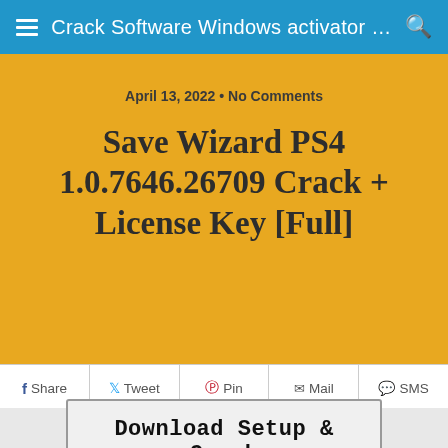Crack Software Windows activator …
April 13, 2022 • No Comments
Save Wizard PS4 1.0.7646.26709 Crack + License Key [Full]
Share   Tweet   Pin   Mail   SMS
Download Setup & Crack
Save Wizard for PS4 MAX Crack Key [Portable]